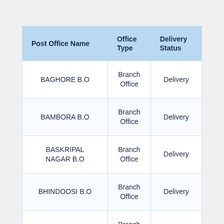| Post Office Name | Office Type | Delivery Status |
| --- | --- | --- |
| BAGHORE B.O | Branch Office | Delivery |
| BAMBORA B.O | Branch Office | Delivery |
| BASKRIPAL NAGAR B.O | Branch Office | Delivery |
| BHINDOOSI B.O | Branch Office | Delivery |
| GAHANKAR B.O | Branch Office | Delivery |